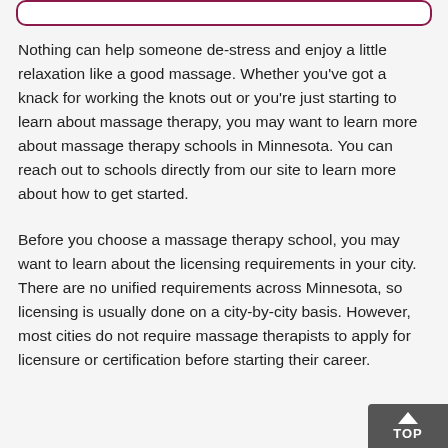[Figure (other): Rounded rectangle border/box at top of page, styled with dark pink/maroon border]
Nothing can help someone de-stress and enjoy a little relaxation like a good massage. Whether you've got a knack for working the knots out or you're just starting to learn about massage therapy, you may want to learn more about massage therapy schools in Minnesota. You can reach out to schools directly from our site to learn more about how to get started.
Before you choose a massage therapy school, you may want to learn about the licensing requirements in your city. There are no unified requirements across Minnesota, so licensing is usually done on a city-by-city basis. However, most cities do not require massage therapists to apply for licensure or certification before starting their career.